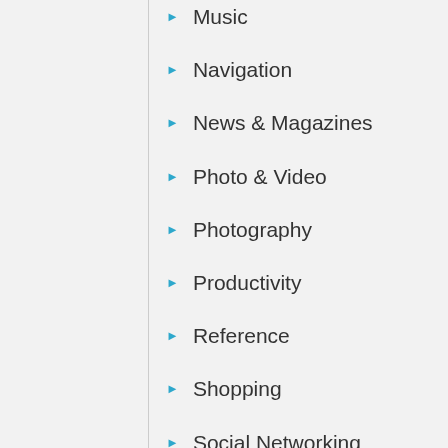Music
Navigation
News & Magazines
Photo & Video
Photography
Productivity
Reference
Shopping
Social Networking
Sports